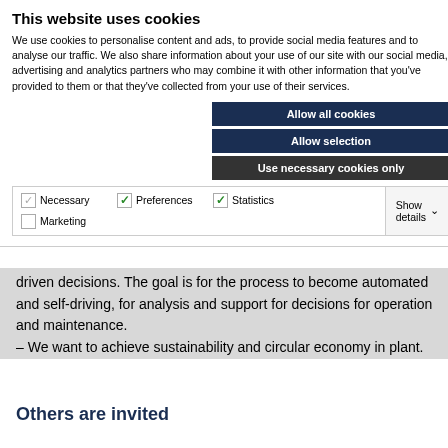This website uses cookies
We use cookies to personalise content and ads, to provide social media features and to analyse our traffic. We also share information about your use of our site with our social media, advertising and analytics partners who may combine it with other information that you've provided to them or that they've collected from your use of their services.
Allow all cookies
Allow selection
Use necessary cookies only
| Necessary | Preferences | Statistics | Show details |
| Marketing |  |  |  |
driven decisions. The goal is for the process to become automated and self-driving, for analysis and support for decisions for operation and maintenance.
– We want to achieve sustainability and circular economy in plant.
Others are invited